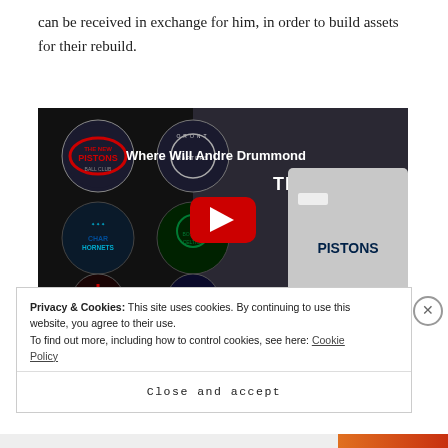can be received in exchange for him, in order to build assets for their rebuild.
[Figure (screenshot): YouTube video thumbnail showing 'Where Will Andre Drummond Be TRADED?' with NBA team logos (Pistons, Raptors, Hornets, Celtics, Trail Blazers, Mavericks) and player in Pistons jersey, with red YouTube play button in center]
Privacy & Cookies: This site uses cookies. By continuing to use this website, you agree to their use.
To find out more, including how to control cookies, see here: Cookie Policy
Close and accept